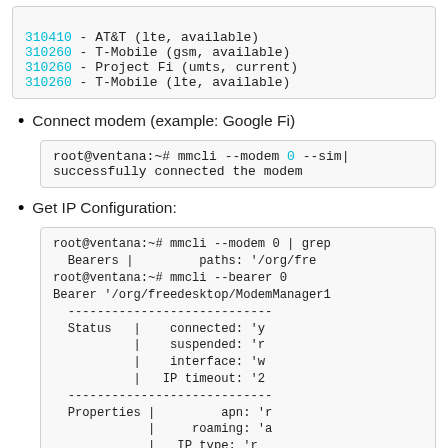[Figure (screenshot): Code block showing carrier/network listing with cyan-highlighted MCC codes: 310410 AT&T lte available, 310260 T-Mobile gsm available, 310260 Project Fi umts current, 310260 T-Mobile lte available]
Connect modem (example: Google Fi)
[Figure (screenshot): Terminal code: root@ventana:~# mmcli --modem 0 --sim[...] successfully connected the modem]
Get IP Configuration:
[Figure (screenshot): Terminal showing mmcli --modem 0 | grep, Bearers paths /org/fre, mmcli --bearer 0, Bearer /org/freedesktop/ModemManager1, dashes separator, Status section with connected/suspended/interface/IP timeout, dashes separator, Properties section with apn/roaming/IP type/user/password/number/Rm protocol]